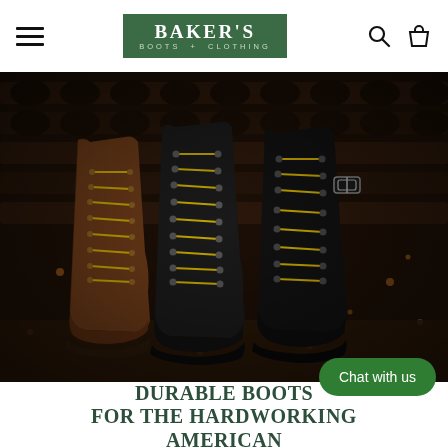Baker's Boots + Clothing — navigation header with hamburger menu, logo, search and cart icons
[Figure (photo): Three pairs of tall work boots with yellow laces displayed on a wooden shelf background: a brown suede boot on the left, a black boot in the center, and a black boot with buckle strap on the right. Bokeh lighting with warm sparks in the dark background.]
DURABLE BOOTS FOR THE HARDWORKING AMERICAN